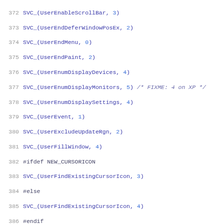[Figure (screenshot): Source code listing showing lines 372-403 of a C/assembly file with SVC_ macro calls for user32 system calls, with line numbers in gray and code in blue monospace font. Includes preprocessor directives #ifdef, #else, #endif.]